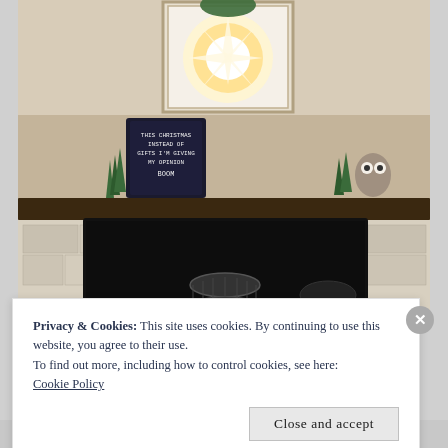[Figure (photo): A Christmas fireplace mantel decorated with small bottle brush trees, a letter board sign reading 'THIS CHRISTMAS INSTEAD OF GIFTS I'M GIVING MY OPINION BOOM', a large illuminated star/snowflake decoration, a mirror, a small owl figurine, and more bottle brush trees. The fireplace below has dark screens covering the firebox opening, with a wire basket visible inside.]
Privacy & Cookies: This site uses cookies. By continuing to use this website, you agree to their use.
To find out more, including how to control cookies, see here:
Cookie Policy
Close and accept